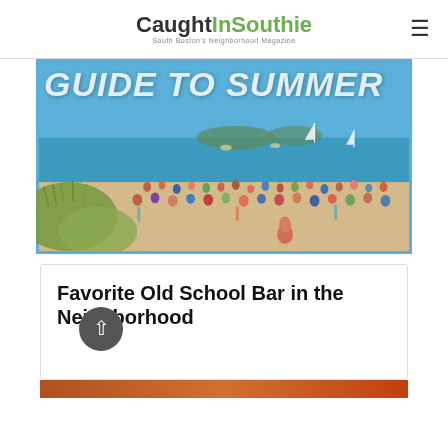CaughtInSouthie — South Boston's Neighborhood Magazine
[Figure (photo): Beach scene with crowds of people on sand and water, with text overlay reading 'GUIDE TO SUMMER' in large white italic letters]
Favorite Old School Bar in the Neighborhood